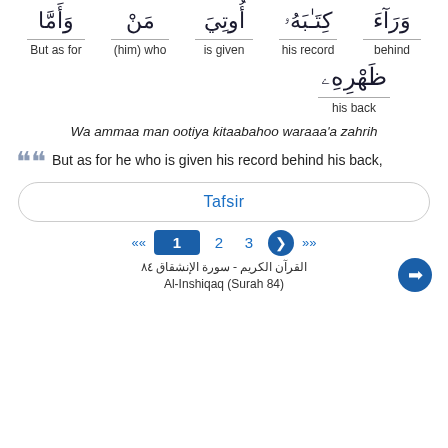[Figure (other): Arabic Quranic text row with five words (right to left): وَأَمَّا, مَنْ, أُوتِيَ, كِتَـٰبَهُۥ, وَرَآءَ with English translations: But as for, (him) who, is given, his record, behind]
[Figure (other): Arabic word ظَهْرِهِۦ with English translation 'his back']
Wa ammaa man ootiya kitaabahoo waraaa'a zahrih
But as for he who is given his record behind his back,
Tafsir
« 1 2 3 ❯ »
القرآن الكريم - سورة الإنشقاق ٨٤
Al-Inshiqaq (Surah 84)